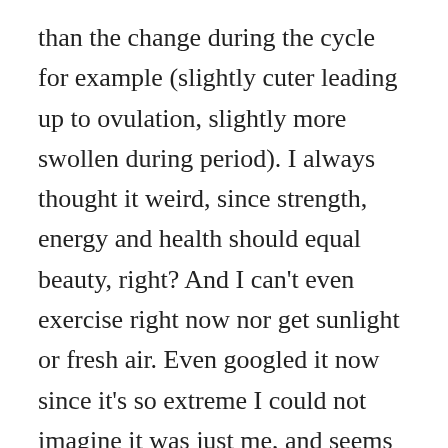than the change during the cycle for example (slightly cuter leading up to ovulation, slightly more swollen during period). I always thought it weird, since strength, energy and health should equal beauty, right? And I can't even exercise right now nor get sunlight or fresh air. Even googled it now since it's so extreme I could not imagine it was just me, and seems it isn't just me but still not really much informationto find. I would love to hear more about it and know the science behind it. Is the body desperate to attract a partner while still alive and therefore throwing in all the last energy on getting super attractive or what?!